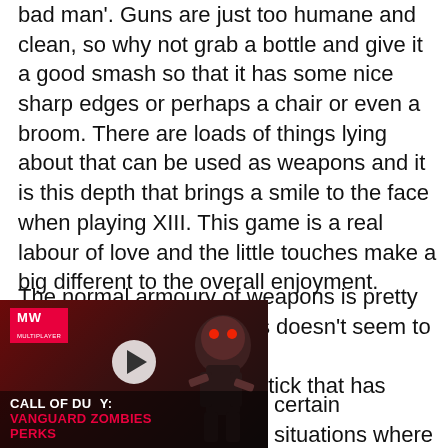bad man'. Guns are just too humane and clean, so why not grab a bottle and give it a good smash so that it has some nice sharp edges or perhaps a chair or even a broom. There are loads of things lying about that can be used as weapons and it is this depth that brings a smile to the face when playing XIII. This game is a real labour of love and the little touches make a big different to the overall enjoyment.
The normal armoury of weapons is pretty basic, but surprisingly this doesn't seem to be that much of a ⊗indrance. Each killing-stick that has been put into this title is [video overlay] certain situations where you [weapon will do the job so there [vast array of big guns that do big [major problems with an
[Figure (screenshot): Video player overlay showing 'Call of Duty: Vanguard Zombies Perks' with MW logo, play button, and zombie character image against dark red background]